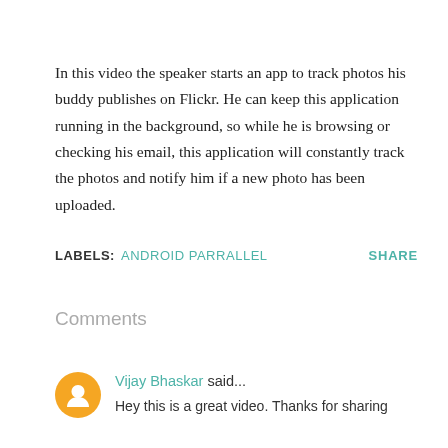In this video the speaker starts an app to track photos his buddy publishes on Flickr. He can keep this application running in the background, so while he is browsing or checking his email, this application will constantly track the photos and notify him if a new photo has been uploaded.
LABELS: ANDROID PARRALLEL    SHARE
Comments
Vijay Bhaskar said... Hey this is a great video. Thanks for sharing